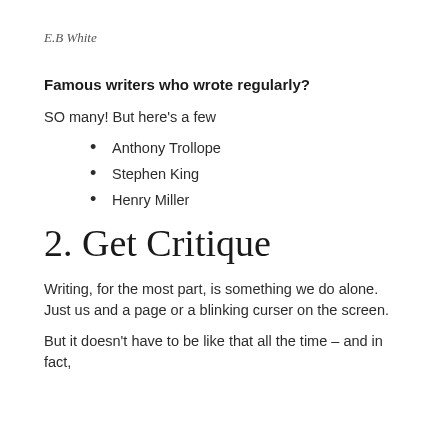E.B White
Famous writers who wrote regularly?
SO many! But here's a few
Anthony Trollope
Stephen King
Henry Miller
2. Get Critique
Writing, for the most part, is something we do alone. Just us and a page or a blinking curser on the screen.
But it doesn't have to be like that all the time – and in fact,